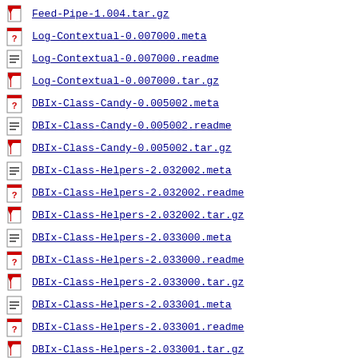Feed-Pipe-1.004.tar.gz
Log-Contextual-0.007000.meta
Log-Contextual-0.007000.readme
Log-Contextual-0.007000.tar.gz
DBIx-Class-Candy-0.005002.meta
DBIx-Class-Candy-0.005002.readme
DBIx-Class-Candy-0.005002.tar.gz
DBIx-Class-Helpers-2.032002.meta
DBIx-Class-Helpers-2.032002.readme
DBIx-Class-Helpers-2.032002.tar.gz
DBIx-Class-Helpers-2.033000.meta
DBIx-Class-Helpers-2.033000.readme
DBIx-Class-Helpers-2.033000.tar.gz
DBIx-Class-Helpers-2.033001.meta
DBIx-Class-Helpers-2.033001.readme
DBIx-Class-Helpers-2.033001.tar.gz
Sub-Exporter-Progressive-0.001012.meta